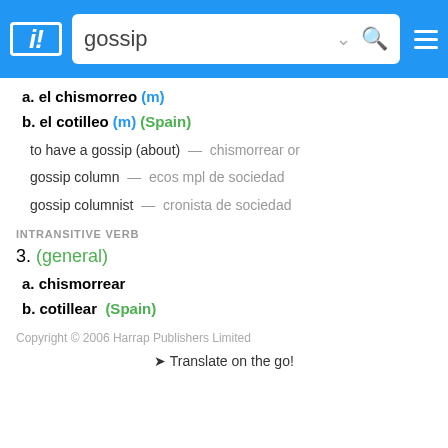[Figure (screenshot): Dictionary app navigation bar with search field showing 'gossip', dropdown chevron, search icon, and hamburger menu on blue background]
a. el chismorreo (m)
b. el cotilleo (m) (Spain)
to have a gossip (about)  —  chismorrear or
gossip column  —  ecos mpl de sociedad
gossip columnist  —  cronista de sociedad
INTRANSITIVE VERB
3. (general)
a. chismorrear
b. cotillear  (Spain)
Copyright © 2006 Harrap Publishers Limited
✈ Translate on the go!